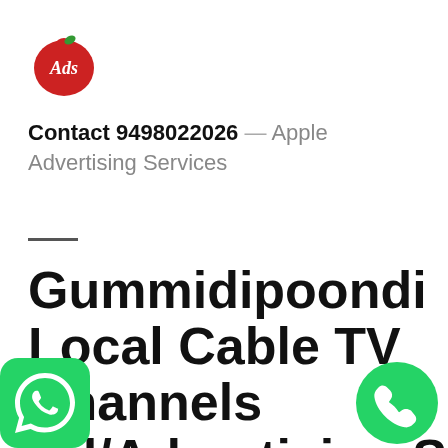[Figure (logo): Red apple-shaped logo with white 'Ads' script text inside]
Contact 9498022026 — Apple Advertising Services
Gummidipoondi Local Cable TV Channels Ad/Advertising Services Contact
[Figure (logo): Green WhatsApp icon, bottom-left corner]
[Figure (logo): Green phone/call icon circle, bottom-right corner]